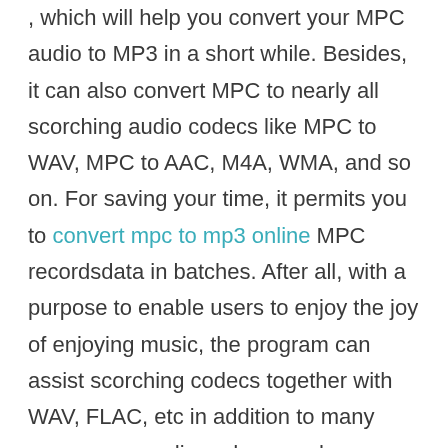, which will help you convert your MPC audio to MP3 in a short while. Besides, it can also convert MPC to nearly all scorching audio codecs like MPC to WAV, MPC to AAC, M4A, WMA, and so on. For saving your time, it permits you to convert mpc to mp3 online MPC recordsdata in batches. After all, with a purpose to enable users to enjoy the joy of enjoying music, the program can assist scorching codecs together with WAV, FLAC, etc in addition to many uncommon audio codecs, such as AMR, M4A, M4B... In other phrases, with the assistance of the software, you can even convert WAV to MP3 , AMR to MP3 with ease.
MP3 is a very fashionable digital audio format, which